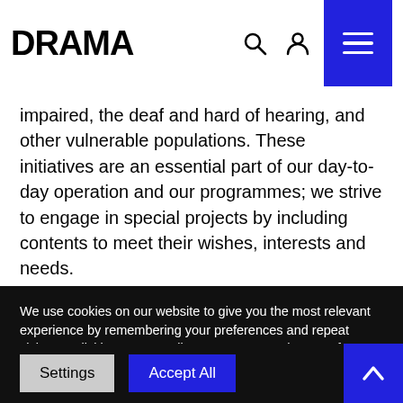DRAMA
impaired, the deaf and hard of hearing, and other vulnerable populations. These initiatives are an essential part of our day-to-day operation and our programmes; we strive to engage in special projects by including contents to meet their wishes, interests and needs.
We use cookies on our website to give you the most relevant experience by remembering your preferences and repeat visits. By clicking "Accept All", you consent to the use of ALL the cookies. However, you may visit "Cookie Settings" to provide a controlled consent.
Settings
Accept All